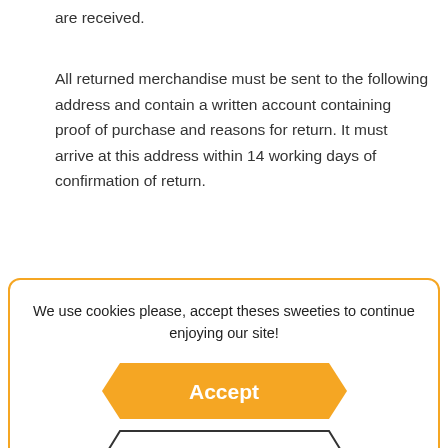are received.
All returned merchandise must be sent to the following address and contain a written account containing proof of purchase and reasons for return. It must arrive at this address within 14 working days of confirmation of return.
Donegal Bees
[Figure (infographic): Cookie consent modal dialog with orange border. Contains text: 'We use cookies please, accept theses sweeties to continue enjoying our site!' with an orange 'Accept' button (hexagonal shape) and a white 'Decline' button (hexagonal outline).]
purchased via the website, to the value of the product